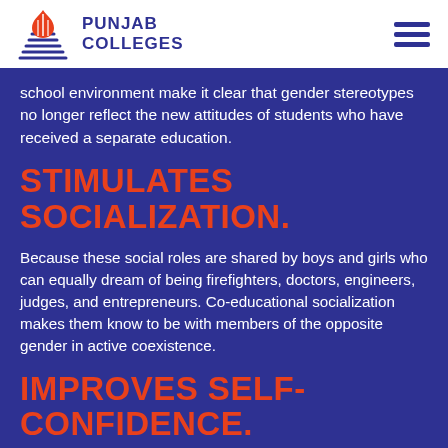[Figure (logo): Punjab Colleges logo with stylized book/hand graphic in orange and navy blue, with text PUNJAB COLLEGES]
school environment make it clear that gender stereotypes no longer reflect the new attitudes of students who have received a separate education.
STIMULATES SOCIALIZATION.
Because these social roles are shared by boys and girls who can equally dream of being firefighters, doctors, engineers, judges, and entrepreneurs. Co-educational socialization makes them know to be with members of the opposite gender in active coexistence.
IMPROVES SELF-CONFIDENCE.